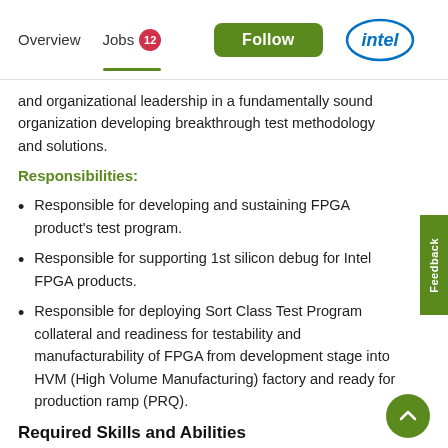Overview  Jobs 12  Follow  intel
and organizational leadership in a fundamentally sound organization developing breakthrough test methodology and solutions.
Responsibilities:
Responsible for developing and sustaining FPGA product's test program.
Responsible for supporting 1st silicon debug for Intel FPGA products.
Responsible for deploying Sort Class Test Program collateral and readiness for testability and manufacturability of FPGA from development stage into HVM (High Volume Manufacturing) factory and ready for production ramp (PRQ).
Required Skills and Abilities
Candidate must possess at least a BS/MS in Electrical and Electronics Engineering or related discipline.